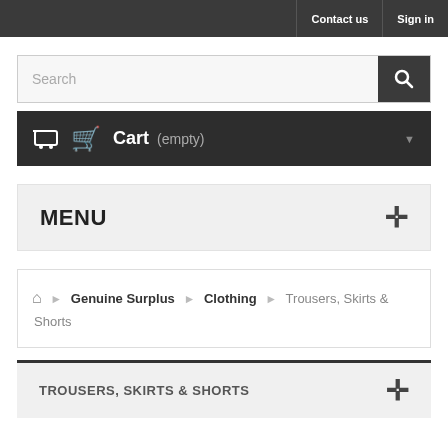Contact us | Sign in
Search
Cart (empty)
MENU
Home > Genuine Surplus > Clothing > Trousers, Skirts & Shorts
TROUSERS, SKIRTS & SHORTS